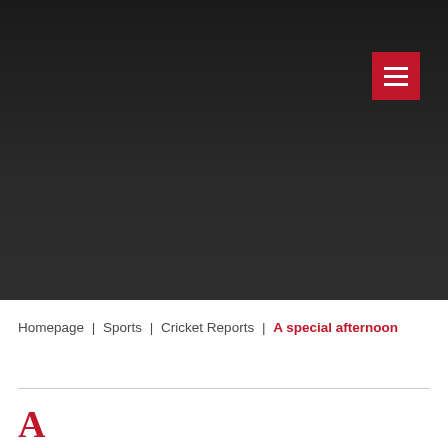[Figure (screenshot): Dark header background area of a website with a red hamburger menu button in the top right corner]
Homepage | Sports | Cricket Reports | A special afternoon
A special afternoon